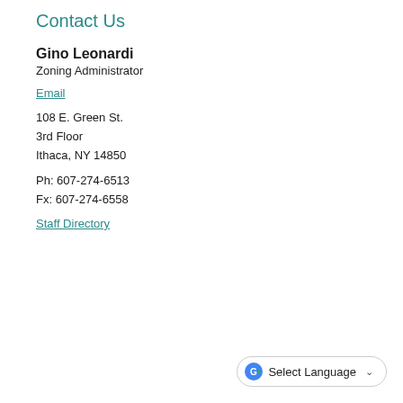Contact Us
Gino Leonardi
Zoning Administrator
Email
108 E. Green St.
3rd Floor
Ithaca, NY 14850
Ph: 607-274-6513
Fx: 607-274-6558
Staff Directory